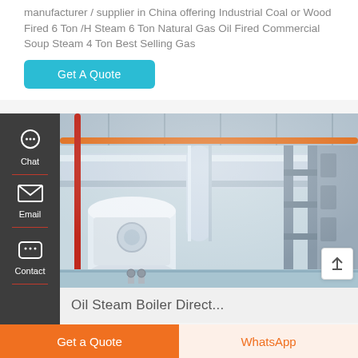manufacturer / supplier in China offering Industrial Coal or Wood Fired 6 Ton /H Steam 6 Ton Natural Gas Oil Fired Commercial Soup Steam 4 Ton Best Selling Gas
[Figure (other): Blue 'Get A Quote' button with rounded corners]
[Figure (photo): Industrial boiler and pipe system inside a factory/plant, showing large insulated pipes, metallic structures, boiler unit, and colorful pipes (red, orange) in a well-lit industrial space.]
Oil Steam Boiler Direct...
Get a Quote
WhatsApp